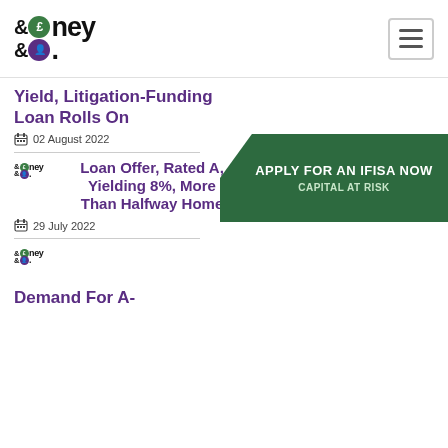[Figure (logo): Money & Co. logo with ampersand, pound symbol in green circle and person icon in purple circle]
Yield, Litigation-Funding Loan Rolls On
02 August 2022
[Figure (logo): Money & Co. small logo]
Loan Offer, Rated A, Yielding 8%, More Than Halfway Home
29 July 2022
[Figure (infographic): Apply for an IFISA Now - Capital At Risk banner in dark green with arrow shape]
[Figure (logo): Money & Co. small logo (second)]
Demand For A-